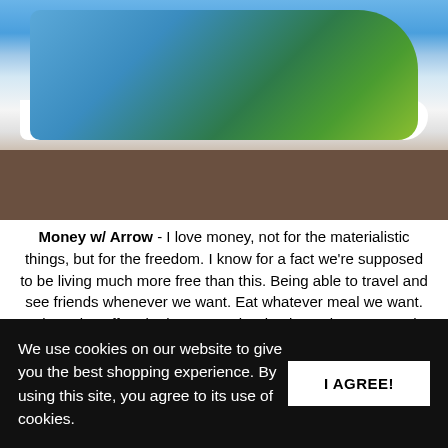[Figure (photo): Close-up photo of a custom-painted white sneaker/shoe with colorful artwork including blue sky, green nature scenes, and text. The shoe is resting on a gravel/asphalt surface.]
Money w/ Arrow - I love money, not for the materialistic things, but for the freedom. I know for a fact we're supposed to be living much more free than this. Being able to travel and see friends whenever we want. Eat whatever meal we want. Take a day off and relax. Go to the dentist and get our teeth fixed with no worries. I want that freedom for me and my family. Cloverdale/Lake Stevens - Cloverdale and Lake
We use cookies on our website to give you the best shopping experience. By using this site, you agree to its use of cookies.